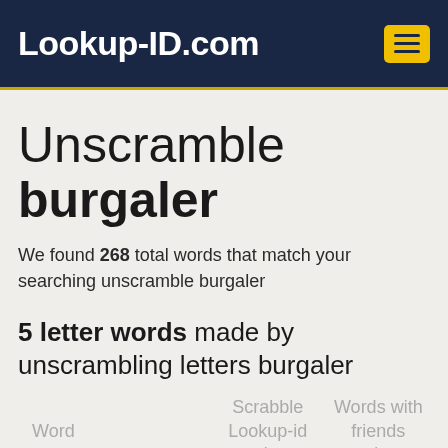Lookup-ID.com
Unscramble burgaler
We found 268 total words that match your searching unscramble burgaler
5 letter words made by unscrambling letters burgaler
| Word | Scrabble Lookup-id points | Words with friends points |
| --- | --- | --- |